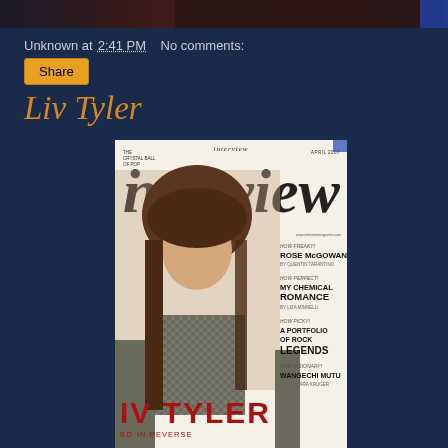[Figure (photo): Partial cropped photo at top of page, dark tones, appears to be a person]
Unknown at 2:41 PM    No comments:
Share
Liv Tyler
[Figure (photo): Interview magazine April 2007 cover featuring Liv Tyler with long brown hair and bangs, wearing a patterned top. Cover lines include: How Freaky! Rose McGowan by Quentin Tarantino, How Perfect! My Chemical Romance by Liza Minnelli, How Picky! A Portfolio of Rock Legends, How Visionary! Wangechi Mutu by Barbara Kruger. Name displayed as IV TYLER in red at bottom. IN REVERSE subtitle visible.]